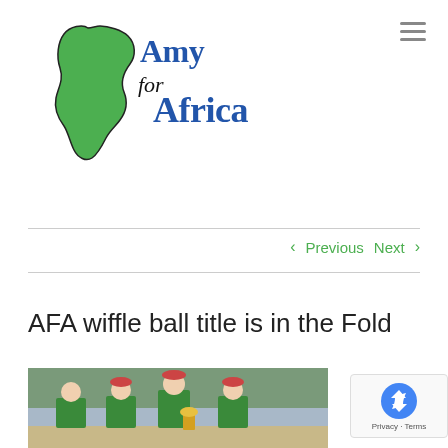[Figure (logo): Amy for Africa logo with green Africa continent silhouette and blue text]
< Previous   Next >
AFA wiffle ball title is in the Fold
[Figure (photo): Group of people wearing green t-shirts holding a trophy outdoors]